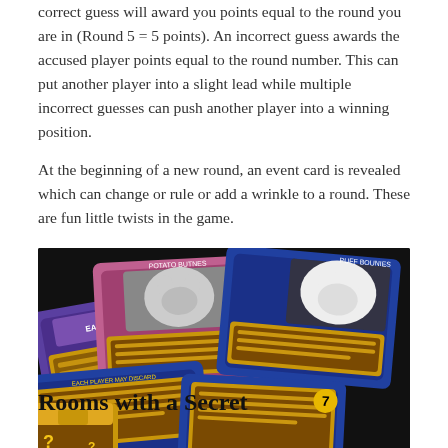correct guess will award you points equal to the round you are in (Round 5 = 5 points). An incorrect guess awards the accused player points equal to the round number. This can put another player into a slight lead while multiple incorrect guesses can push another player into a winning position.

At the beginning of a new round, an event card is revealed which can change or rule or add a wrinkle to a round. These are fun little twists in the game.
[Figure (photo): Photo of several game cards spread out on a dark surface. The cards have ornate golden frames and feature text rules along with images of cats. Card titles visible include 'POTATO BUTNES' and 'PUFF BOUNDIES'. The cards appear to be event cards for a board game.]
Rooms with a Secret